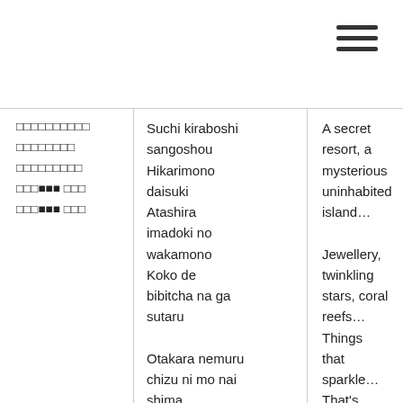[Figure (other): Hamburger menu icon (three horizontal lines) in top right corner]
□□□□□□□□□□
□□□□□□□□
□□□□□□□□□
□□□■■■ □□□
□□□■■■ □□□
Suchi kiraboshi sangoshou
Hikarimono daisuki
Atashira imadoki no wakamono
Koko de bibitcha na ga sutaru

Otakara nemuru chizu ni mo nai shima
Shinpi to roman no kaguya shima
Misuterii daisuki
A secret resort, a mysterious uninhabited island…
Jewellery, twinkling stars, coral reefs…
Things that sparkle… That's what we love
We are the youth of today…
Here acting self-conscious is out of fashion